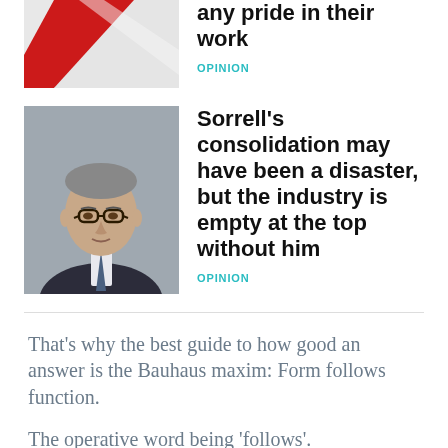[Figure (photo): Partial thumbnail image, top left corner, showing diagonal red/white stripes]
any pride in their work
OPINION
[Figure (photo): Photo of an older man with glasses in a dark suit with a tie, grey background — Martin Sorrell]
Sorrell's consolidation may have been a disaster, but the industry is empty at the top without him
OPINION
That's why the best guide to how good an answer is the Bauhaus maxim: Form follows function.
The operative word being 'follows'.
Anything's final form must be the result of how